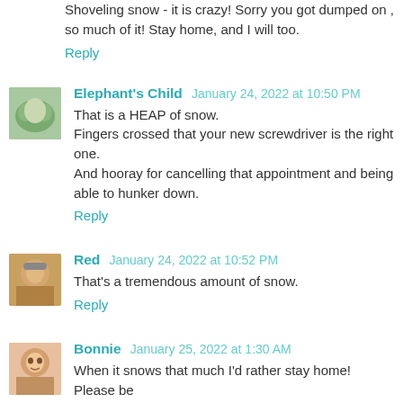Shoveling snow - it is crazy! Sorry you got dumped on , so much of it! Stay home, and I will too.
Reply
Elephant's Child  January 24, 2022 at 10:50 PM
That is a HEAP of snow.
Fingers crossed that your new screwdriver is the right one.
And hooray for cancelling that appointment and being able to hunker down.
Reply
Red  January 24, 2022 at 10:52 PM
That's a tremendous amount of snow.
Reply
Bonnie  January 25, 2022 at 1:30 AM
When it snows that much I'd rather stay home! Please be